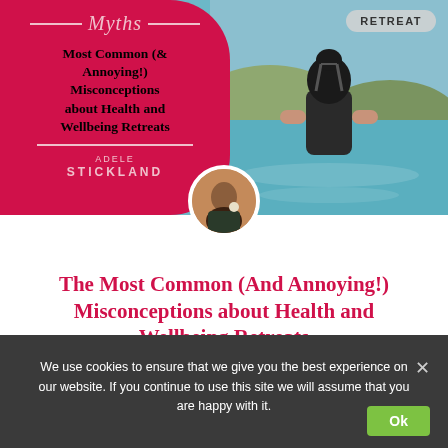[Figure (illustration): Split image: left side has a pink/red panel with decorative script 'Myths' header with lines, bold black text 'Most Common (& Annoying!) Misconceptions about Health and Wellbeing Retreats', pink divider line, author name 'ADELE STICKLAND' in pink. Right side shows a person in a swimming pool from behind, outdoor setting. A circular profile photo overlaps at the bottom center. A 'RETREAT' badge appears in the top right.]
The Most Common (And Annoying!) Misconceptions about Health and Wellbeing Retreats
We use cookies to ensure that we give you the best experience on our website. If you continue to use this site we will assume that you are happy with it.